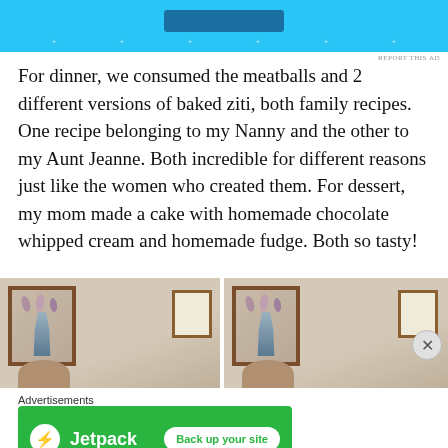[Figure (other): Advertisement banner with blue background, button, and dotted pattern at bottom]
For dinner, we consumed the meatballs and 2 different versions of baked ziti, both family recipes. One recipe belonging to my Nanny and the other to my Aunt Jeanne. Both incredible for different reasons just like the women who created them. For dessert, my mom made a cake with homemade chocolate whipped cream and homemade fudge. Both so tasty!
[Figure (photo): Two side-by-side photos showing a room with framed artwork on the wall and a person's head visible at the bottom]
Advertisements
[Figure (other): Jetpack advertisement with green background showing Jetpack logo and 'Back up your site' button]